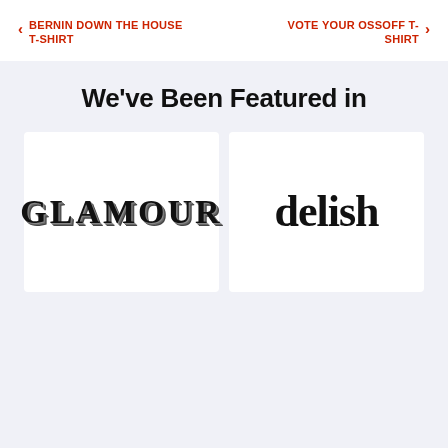‹ BERNIN DOWN THE HOUSE T-SHIRT
VOTE YOUR OSSOFF T-SHIRT ›
We've Been Featured in
[Figure (logo): GLAMOUR magazine logo in bold serif uppercase letters with 3D shadow effect]
[Figure (logo): delish logo in bold serif lowercase letters]